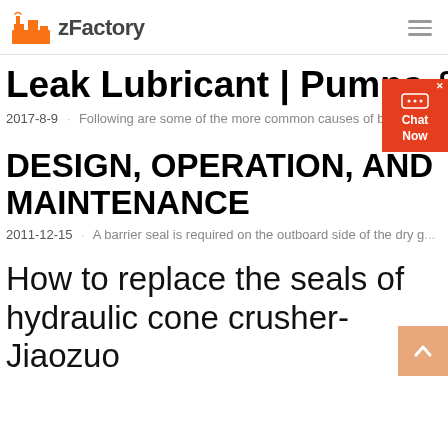zFactory
Leak Lubricant | Pumps &
2017-8-9 · Following are some of the more common causes of beari...
DESIGN, OPERATION, AND MAINTENANCE
2011-12-15 · A barrier seal is required on the outboard side of the dry g...
How to replace the seals of hydraulic cone crusher-Jiaozuo